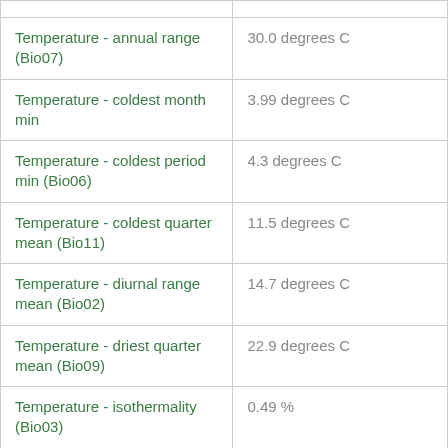| Temperature - annual range (Bio07) | 30.0 degrees C |
| Temperature - coldest month min | 3.99 degrees C |
| Temperature - coldest period min (Bio06) | 4.3 degrees C |
| Temperature - coldest quarter mean (Bio11) | 11.5 degrees C |
| Temperature - diurnal range mean (Bio02) | 14.7 degrees C |
| Temperature - driest quarter mean (Bio09) | 22.9 degrees C |
| Temperature - isothermality (Bio03) | 0.49 % |
| Temperature - month hottest maximum | 33.02 degrees C |
| Temperature - seasonality (Bio04) | 1.81 |